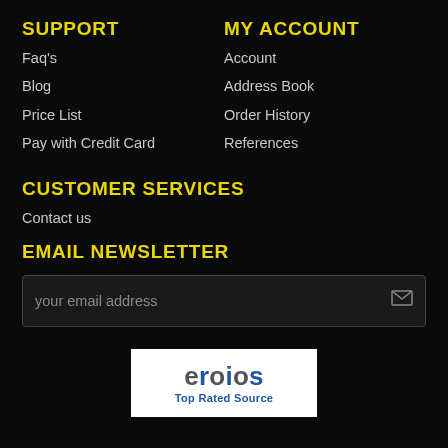SUPPORT
Faq's
Blog
Price List
Pay with Credit Card
MY ACCOUNT
Account
Address Book
Order History
References
CUSTOMER SERVICES
Contact us
EMAIL NEWSLETTER
your email address
[Figure (logo): eroids logo with text 'Top Rated Source']